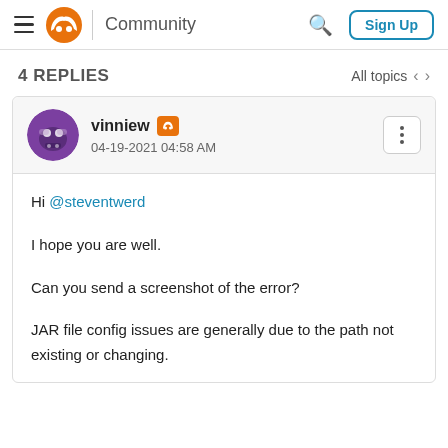Community — Sign Up
4 REPLIES
All topics < >
vinniew  04-19-2021 04:58 AM
Hi @steventwerd

I hope you are well.

Can you send a screenshot of the error?

JAR file config issues are generally due to the path not existing or changing.